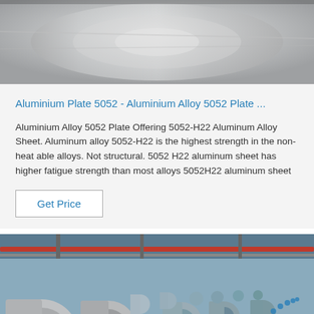[Figure (photo): Close-up photo of a shiny aluminium plate or disc surface, silver-gray metallic texture]
Aluminium Plate 5052 - Aluminium Alloy 5052 Plate ...
Aluminium Alloy 5052 Plate Offering 5052-H22 Aluminum Alloy Sheet. Aluminum alloy 5052-H22 is the highest strength in the non-heat able alloys. Not structural. 5052 H22 aluminum sheet has higher fatigue strength than most alloys 5052H22 aluminum sheet
Get Price
[Figure (photo): Interior of a large industrial warehouse/factory with overhead cranes, storing large rolls of aluminium or steel coils on the floor. Blue TOP logo visible in bottom right.]